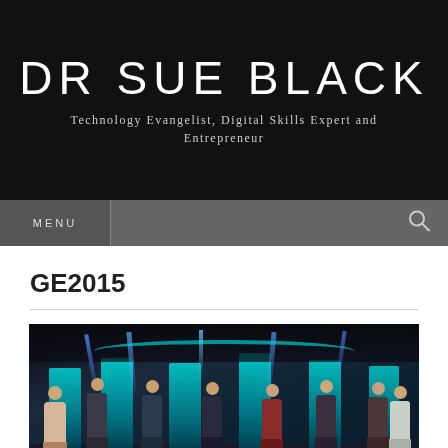DR SUE BLACK
Technology Evangelist, Digital Skills Expert and Entrepreneur
MENU
GE2015
[Figure (photo): A group of people standing on a stage with teal/blue lit panels behind them, likely a political debate or panel event. Stage lighting beams illuminate from above. Multiple figures visible standing at podiums.]